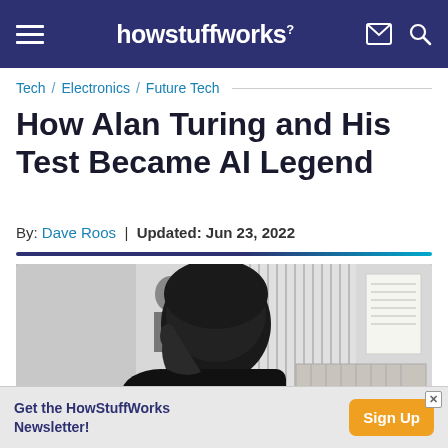howstuffworks
Tech / Electronics / Future Tech
How Alan Turing and His Test Became AI Legend
By: Dave Roos | Updated: Jun 23, 2022
[Figure (photo): Black and white photo of a person viewed from behind/side with another figure visible in the background, appears to be in an office or institutional setting]
Get the HowStuffWorks Newsletter! Sign Up